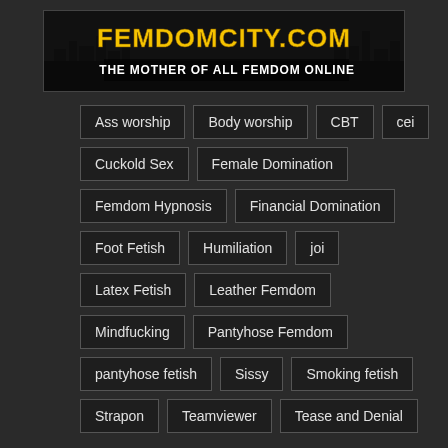[Figure (logo): FemdomCity.com logo banner with city skyline background. Yellow text reads FEMDOMCITY.COM, white text below reads THE MOTHER OF ALL FEMDOM ONLINE]
Ass worship
Body worship
CBT
cei
Cuckold Sex
Female Domination
Femdom Hypnosis
Financial Domination
Foot Fetish
Humiliation
joi
Latex Fetish
Leather Femdom
Mindfucking
Pantyhose Femdom
pantyhose fetish
Sissy
Smoking fetish
Strapon
Teamviewer
Tease and Denial